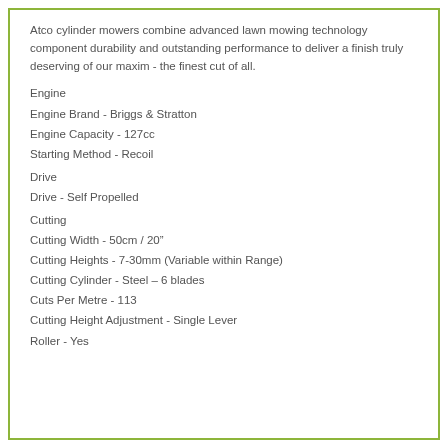Atco cylinder mowers combine advanced lawn mowing technology component durability and outstanding performance to deliver a finish truly deserving of our maxim - the finest cut of all.
Engine
Engine Brand - Briggs & Stratton
Engine Capacity - 127cc
Starting Method - Recoil
Drive
Drive - Self Propelled
Cutting
Cutting Width - 50cm / 20"
Cutting Heights - 7-30mm (Variable within Range)
Cutting Cylinder - Steel – 6 blades
Cuts Per Metre - 113
Cutting Height Adjustment - Single Lever
Roller - Yes